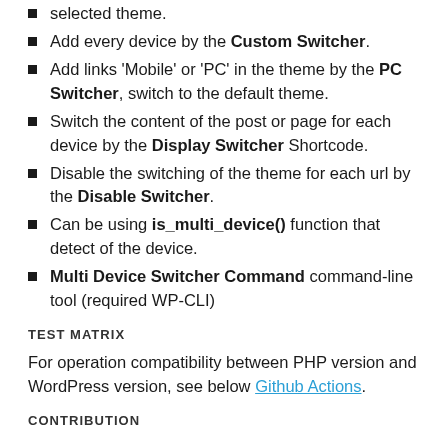selected theme.
Add every device by the Custom Switcher.
Add links 'Mobile' or 'PC' in the theme by the PC Switcher, switch to the default theme.
Switch the content of the post or page for each device by the Display Switcher Shortcode.
Disable the switching of the theme for each url by the Disable Switcher.
Can be using is_multi_device() function that detect of the device.
Multi Device Switcher Command command-line tool (required WP-CLI)
TEST MATRIX
For operation compatibility between PHP version and WordPress version, see below Github Actions.
CONTRIBUTION